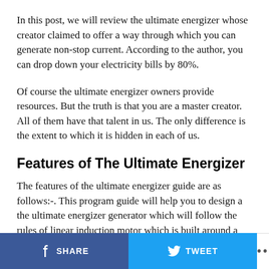In this post, we will review the ultimate energizer whose creator claimed to offer a way through which you can generate non-stop current. According to the author, you can drop down your electricity bills by 80%.
Of course the ultimate energizer owners provide resources. But the truth is that you are a master creator. All of them have that talent in us. The only difference is the extent to which it is hidden in each of us.
Features of The Ultimate Energizer
The features of the ultimate energizer guide are as follows:-. This program guide will help you to design a the ultimate energizer generator which will follow the rules of linear induction motor which is built around a track that is orbicular to maintain the smooth motion of
SHARE  TWEET  ...